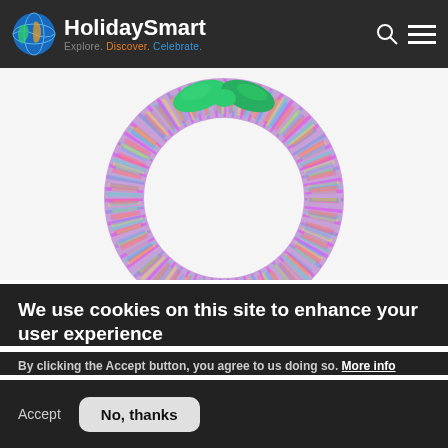HolidaySmart — Explore. Discover. Celebrate.
[Figure (photo): A colorful sequined wreath with a green satin bow at the top, photographed against a white background.]
We use cookies on this site to enhance your user experience
By clicking the Accept button, you agree to us doing so. More info
Accept
No, thanks